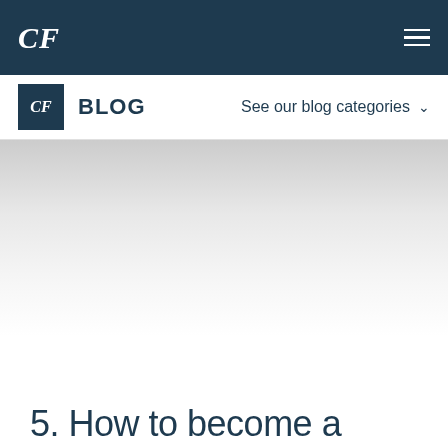CF
CF BLOG | See our blog categories
[Figure (illustration): Hero image area with gradient background, light grey to white]
5. How to become a social